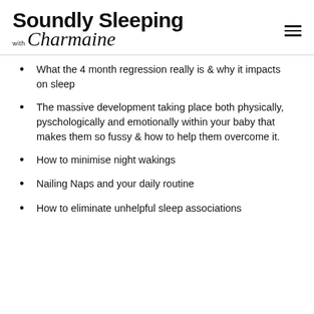Soundly Sleeping with Charmaine
What the 4 month regression really is  & why it impacts on sleep
The massive development taking place both physically, pyschologically and emotionally within your baby that makes them so fussy & how to help them overcome it.
How to minimise night wakings
Nailing Naps and your daily routine
How to eliminate unhelpful sleep associations